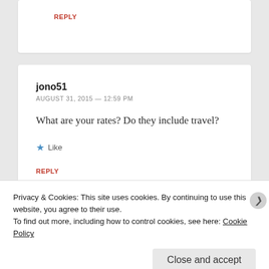REPLY
jono51
AUGUST 31, 2015 — 12:59 PM
What are your rates? Do they include travel?
Like
REPLY
Privacy & Cookies: This site uses cookies. By continuing to use this website, you agree to their use.
To find out more, including how to control cookies, see here: Cookie Policy
Close and accept